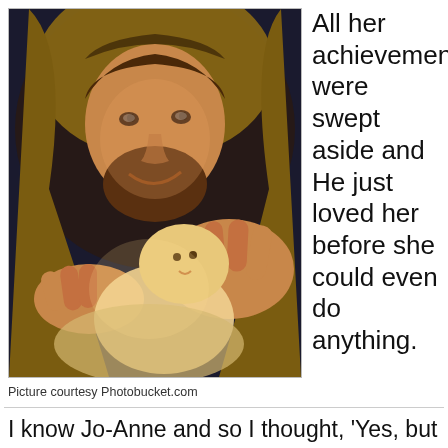[Figure (illustration): Painting of a bearded man in a robe holding a baby, looking down at the infant with a warm smile. The man resembles traditional depictions of Jesus Christ.]
Picture courtesy Photobucket.com
All her achievements were swept aside and He just loved her before she could even do anything.
I know Jo-Anne and so I thought, 'Yes, but of course God delighted in Jo-Anne'. I couldn't put myself in that picture as a baby God delighted in because I was deformed and caused heartache for